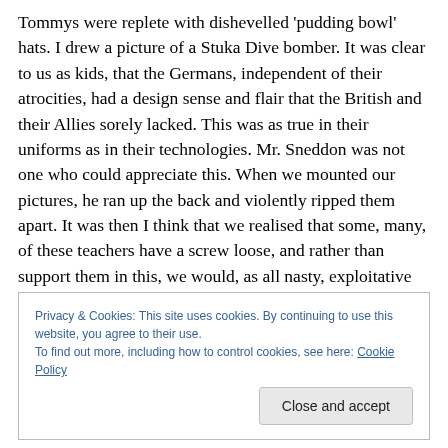Tommys were replete with dishevelled 'pudding bowl' hats. I drew a picture of a Stuka Dive bomber. It was clear to us as kids, that the Germans, independent of their atrocities, had a design sense and flair that the British and their Allies sorely lacked. This was as true in their uniforms as in their technologies. Mr. Sneddon was not one who could appreciate this. When we mounted our pictures, he ran up the back and violently ripped them apart. It was then I think that we realised that some, many, of these teachers have a screw loose, and rather than support them in this, we would, as all nasty, exploitative kids do, explore and
Privacy & Cookies: This site uses cookies. By continuing to use this website, you agree to their use.
To find out more, including how to control cookies, see here: Cookie Policy
Close and accept